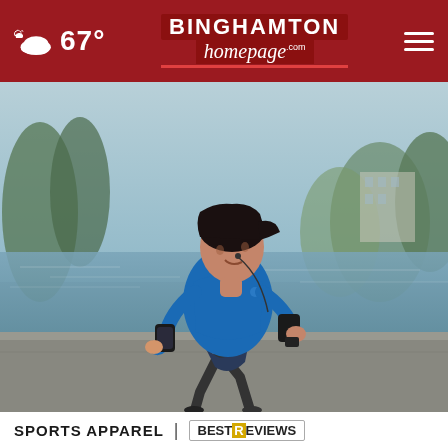67° | Binghamton homepage.com
[Figure (photo): A man in a blue athletic shirt and dark shorts running along a lakeside path, with trees and a building visible in the background. He wears a phone armband and earbuds.]
SPORTS APPAREL | BESTREVIEWS